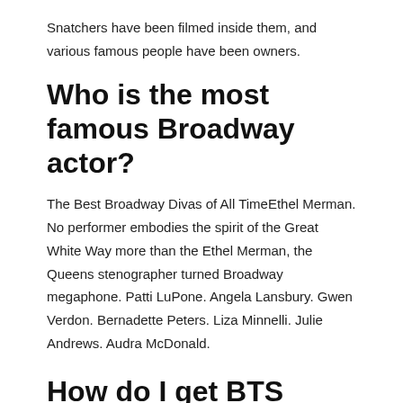Snatchers have been filmed inside them, and various famous people have been owners.
Who is the most famous Broadway actor?
The Best Broadway Divas of All TimeEthel Merman. No performer embodies the spirit of the Great White Way more than the Ethel Merman, the Queens stenographer turned Broadway megaphone. Patti LuPone. Angela Lansbury. Gwen Verdon. Bernadette Peters. Liza Minnelli. Julie Andrews. Audra McDonald.
How do I get BTS Theatre tickets in India?
The live screening of the BTS Permission to Dance on Stage can be enjoyed at your nearest PVR cinemas and one can book the